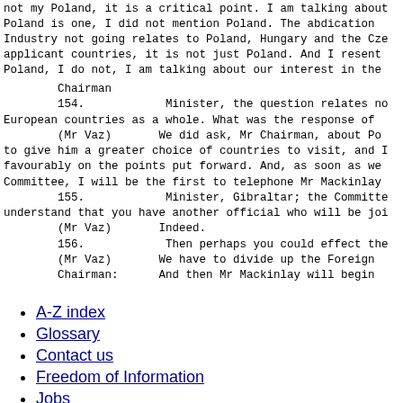not my Poland, it is a critical point. I am talking about Poland is one, I did not mention Poland. The abdication Industry not going relates to Poland, Hungary and the Czech applicant countries, it is not just Poland. And I resent Poland, I do not, I am talking about our interest in the
Chairman
154.          Minister, the question relates not European countries as a whole. What was the response of
(Mr Vaz)       We did ask, Mr Chairman, about Poland to give him a greater choice of countries to visit, and I favourably on the points put forward. And, as soon as we Committee, I will be the first to telephone Mr Mackinlay
155.          Minister, Gibraltar; the Committee understand that you have another official who will be joining.
(Mr Vaz)       Indeed.
156.          Then perhaps you could effect the
(Mr Vaz)       We have to divide up the Foreign
Chairman:      And then Mr Mackinlay will begin
A-Z index
Glossary
Contact us
Freedom of Information
Jobs
Using this website
Copyright